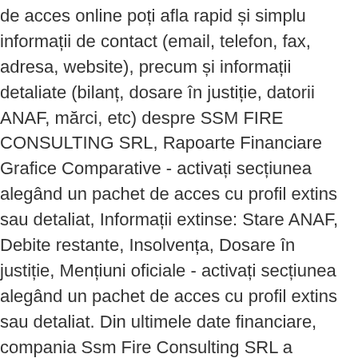de acces online poți afla rapid și simplu informații de contact (email, telefon, fax, adresa, website), precum și informații detaliate (bilanț, dosare în justiție, datorii ANAF, mărci, etc) despre SSM FIRE CONSULTING SRL, Rapoarte Financiare Grafice Comparative - activați secțiunea alegând un pachet de acces cu profil extins sau detaliat, Informații extinse: Stare ANAF, Debite restante, Insolvența, Dosare în justiție, Mențiuni oficiale - activați secțiunea alegând un pachet de acces cu profil extins sau detaliat. Din ultimele date financiare, compania Ssm Fire Consulting SRL a raportat creștere venitului net de vânzări din 5,38% în Q2C2020. Order Online Tickets Tickets See Availability Directions {{::location.tagLine.value.text}} Sponsored Topics. Teams of 2 or 10,000 can meet in one place, no matter how many places they're in. SSM e-Info